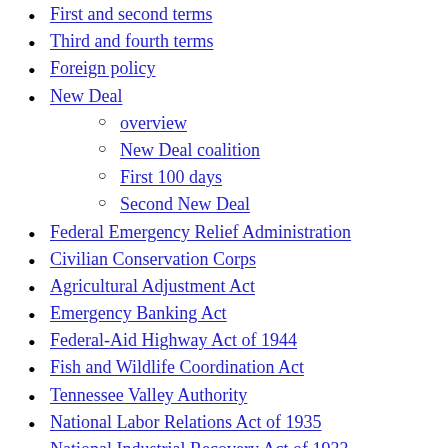First and second terms
Third and fourth terms
Foreign policy
New Deal
overview
New Deal coalition
First 100 days
Second New Deal
Federal Emergency Relief Administration
Civilian Conservation Corps
Agricultural Adjustment Act
Emergency Banking Act
Federal-Aid Highway Act of 1944
Fish and Wildlife Coordination Act
Tennessee Valley Authority
National Labor Relations Act of 1935
National Industrial Recovery Act of 1933
Public Works Administration
National Recovery